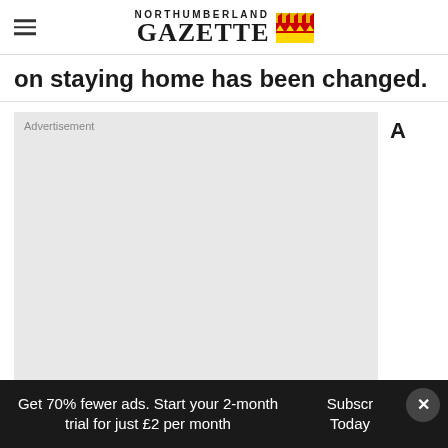NORTHUMBERLAND GAZETTE
on staying home has been changed.
[Figure (other): Advertisement placeholder box with light grey background]
Get 70% fewer ads. Start your 2-month trial for just £2 per month   Subscribe Today